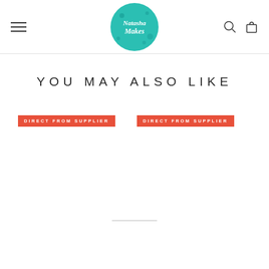Natasha Makes - Navigation header with logo, search and cart icons
YOU MAY ALSO LIKE
[Figure (other): Product card with red 'DIRECT FROM SUPPLIER' badge and empty product image area]
[Figure (other): Partial product card with truncated red 'DIRECT F...' badge visible at right edge]